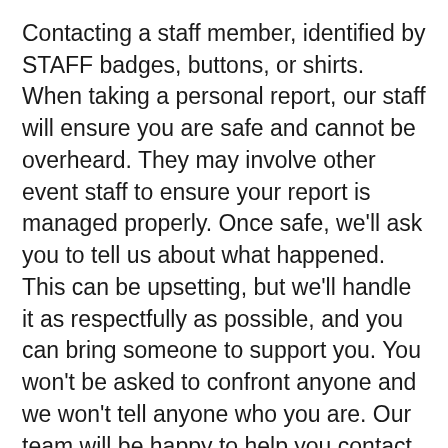Contacting a staff member, identified by STAFF badges, buttons, or shirts. When taking a personal report, our staff will ensure you are safe and cannot be overheard. They may involve other event staff to ensure your report is managed properly. Once safe, we'll ask you to tell us about what happened. This can be upsetting, but we'll handle it as respectfully as possible, and you can bring someone to support you. You won't be asked to confront anyone and we won't tell anyone who you are. Our team will be happy to help you contact hotel/venue security, local law enforcement, local support services, provide escorts, or otherwise assist you to feel safe for the duration of the event. We value your attendance.